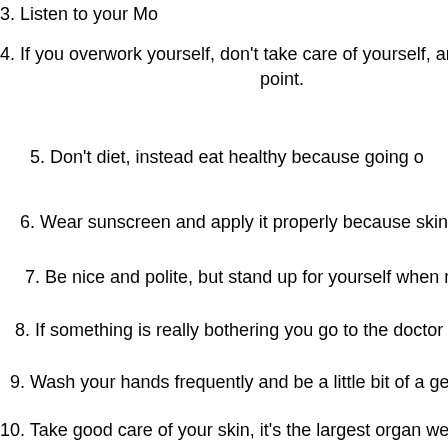3. Listen to your Mo
4. If you overwork yourself, don't take care of yourself, and/or d point.
5. Don't diet, instead eat healthy because going o
6. Wear sunscreen and apply it properly because skin c
7. Be nice and polite, but stand up for yourself when n
8. If something is really bothering you go to the doctor and
9. Wash your hands frequently and be a little bit of a germoph
10. Take good care of your skin, it's the largest organ we have it is not only good for you, but will help
11. Speak up for wha
12. Don't bother arguing with someone who's "always right" o